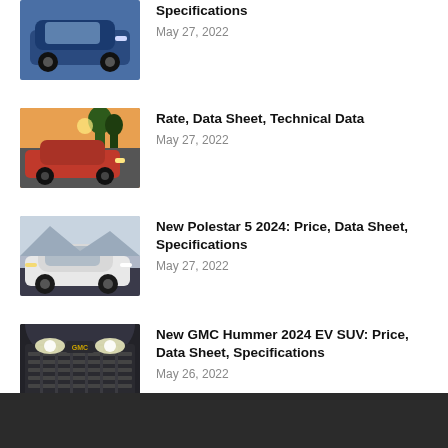Specifications
May 27, 2022
Rate, Data Sheet, Technical Data
May 27, 2022
New Polestar 5 2024: Price, Data Sheet, Specifications
May 27, 2022
New GMC Hummer 2024 EV SUV: Price, Data Sheet, Specifications
May 26, 2022